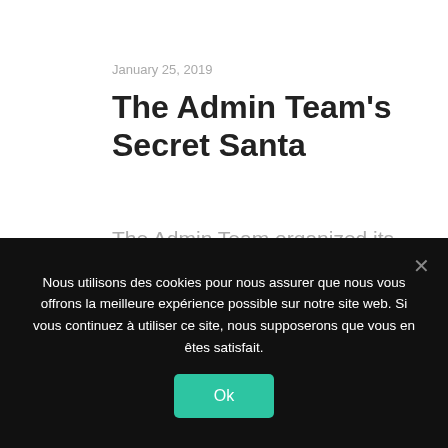January 25, 2019
The Admin Team's Secret Santa
The Admin Team organized its Secret Santa this week (it's never too late 😉). We all drew the name of someone in the team last week, to keep secret until the end. On
Nous utilisons des cookies pour nous assurer que nous vous offrons la meilleure expérience possible sur notre site web. Si vous continuez à utiliser ce site, nous supposerons que vous en êtes satisfait.
Ok